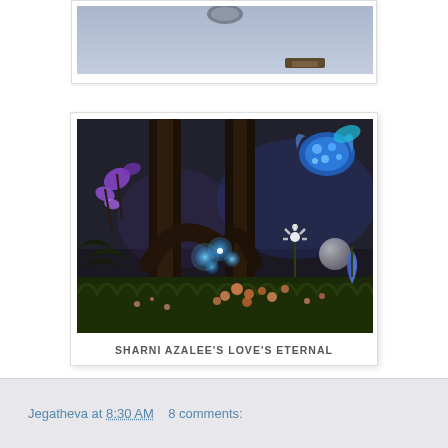[Figure (photo): Top portion of a blog post image - partial view of a 3D virtual world scene with a bluish-gray background, showing what appears to be a round object at top center and a brown rectangular object at bottom right]
[Figure (photo): Second Life or virtual world screenshot showing a fantasy garden scene: dark tree trunks with an arch, glowing blue flowers in the center, purple flowers on the left, blue creature/flowers in top right corner, orange flowers on the ground, white daisy flower, blue bell flower, and lush green ground cover]
SHARNI AZALEE'S LOVE'S ETERNAL
.
Jegatheva at 8:30 AM    8 comments: